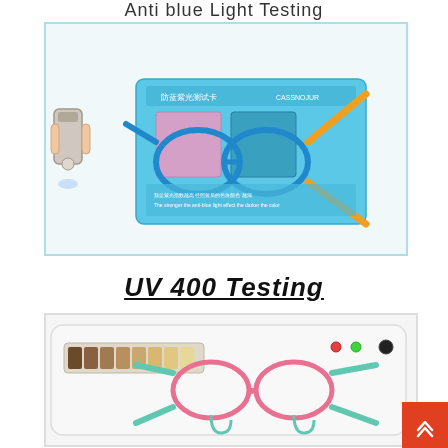Anti blue Light Testing
[Figure (photo): A hand holding a UV pen/flashlight shining light through blue and yellow kids' glasses frames placed on a blue anti-blue light test card, showing purple/pink color change on the card panels.]
UV 400 Testing
[Figure (photo): Pink and mint children's glasses frames placed on a white UV testing device with a color strip indicator panel and indicator lights, used for UV 400 testing demonstration.]